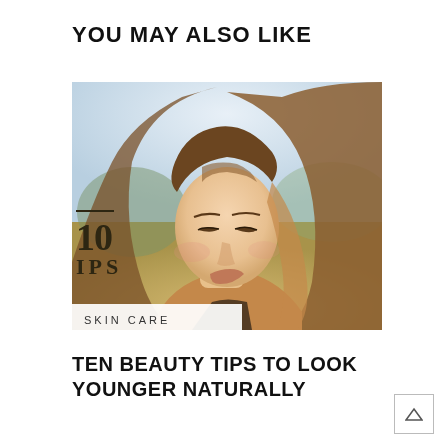YOU MAY ALSO LIKE
[Figure (photo): Young woman with long auburn hair, eyes closed, in an outdoor natural setting with soft bokeh background. Overlaid text reads '10 TIPS' with a horizontal rule above. A 'SKIN CARE' label appears at bottom left of the image.]
TEN BEAUTY TIPS TO LOOK YOUNGER NATURALLY